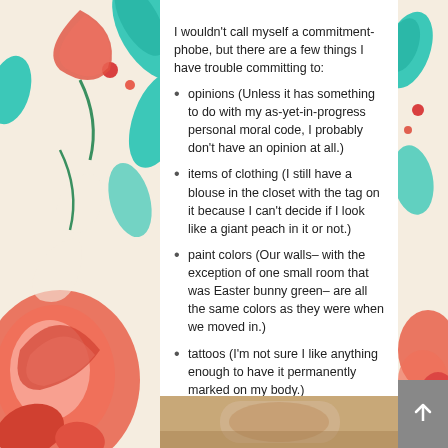I wouldn't call myself a commitment-phobe, but there are a few things I have trouble committing to:
opinions (Unless it has something to do with my as-yet-in-progress personal moral code, I probably don't have an opinion at all.)
items of clothing (I still have a blouse in the closet with the tag on it because I can't decide if I look like a giant peach in it or not.)
paint colors (Our walls– with the exception of one small room that was Easter bunny green– are all the same colors as they were when we moved in.)
tattoos (I'm not sure I like anything enough to have it permanently marked on my body.)
I have no solution for any of these except the tattoo one. Because Pinterest taught me how to make temporary tattoos.
[Figure (photo): Bottom portion of page showing a partial photo of what appears to be a hand/skin with a tattoo, warm beige/brown tones]